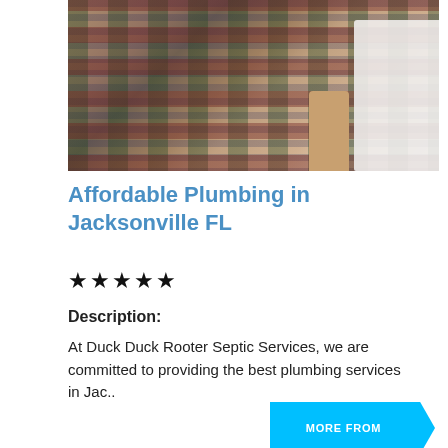[Figure (photo): Person wearing a plaid flannel shirt, leaning against a white surface, likely a plumber or tradesperson]
Affordable Plumbing in Jacksonville FL
★★★★★
Description:
At Duck Duck Rooter Septic Services, we are committed to providing the best plumbing services in Jac..
[Figure (other): Blue arrow/chevron shaped button with text 'MORE FROM']
[Figure (photo): Worker wearing a white hard hat, standing in front of wooden construction framing]